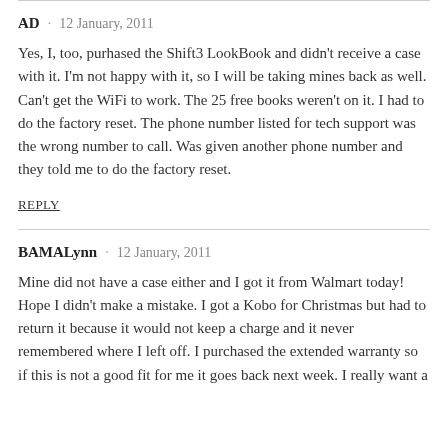AD · 12 January, 2011
Yes, I, too, purhased the Shift3 LookBook and didn't receive a case with it. I'm not happy with it, so I will be taking mines back as well. Can't get the WiFi to work. The 25 free books weren't on it. I had to do the factory reset. The phone number listed for tech support was the wrong number to call. Was given another phone number and they told me to do the factory reset.
REPLY
BAMALynn · 12 January, 2011
Mine did not have a case either and I got it from Walmart today! Hope I didn't make a mistake. I got a Kobo for Christmas but had to return it because it would not keep a charge and it never remembered where I left off. I purchased the extended warranty so if this is not a good fit for me it goes back next week. I really want a